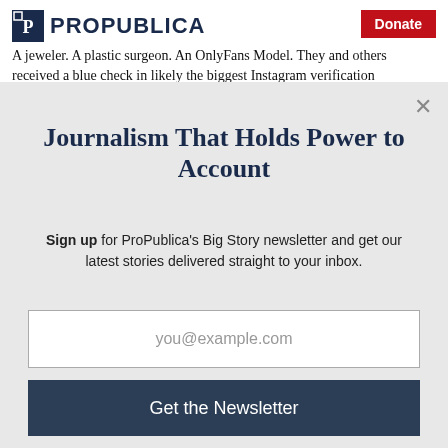ProPublica — Donate
A jeweler. A plastic surgeon. An OnlyFans Model. They and others received a blue check in likely the biggest Instagram verification
Journalism That Holds Power to Account
Sign up for ProPublica's Big Story newsletter and get our latest stories delivered straight to your inbox.
you@example.com
Get the Newsletter
No thanks, I'm all set
This site is protected by reCAPTCHA and the Google Privacy Policy and Terms of Service apply.